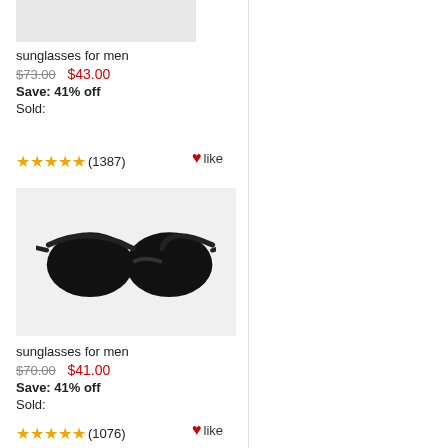[Figure (photo): Product image placeholder (light gray box) for sunglasses for men, first listing]
sunglasses for men
$73.00  $43.00
Save: 41% off
Sold:
★★★★★ (1387)  ♥like
[Figure (photo): Black wayfarers-style sunglasses product photo on light gray background]
sunglasses for men
$70.00  $41.00
Save: 41% off
Sold:
★★★★★ (1076)  ♥like